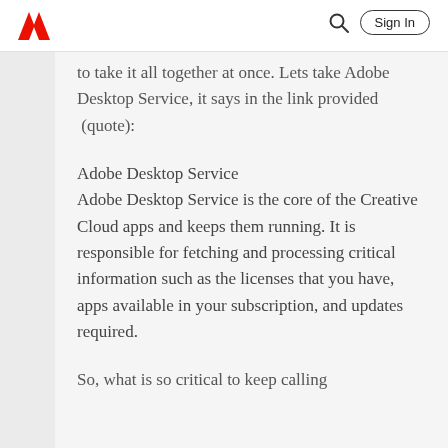Adobe | Sign In
to take it all together at once. Lets take Adobe Desktop Service, it says in the link provided  (quote):
Adobe Desktop Service
Adobe Desktop Service is the core of the Creative Cloud apps and keeps them running. It is responsible for fetching and processing critical information such as the licenses that you have, apps available in your subscription, and updates required.
So, what is so critical to keep calling